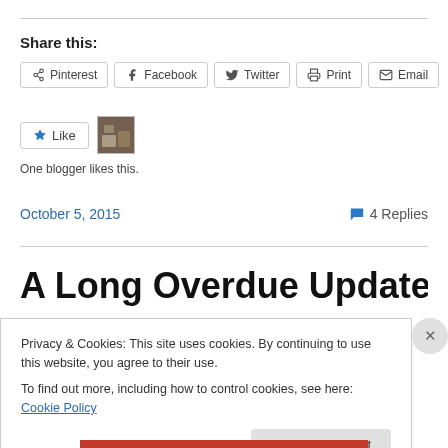Share this:
Pinterest | Facebook | Twitter | Print | Email
[Figure (screenshot): Like button and blogger thumbnail image]
One blogger likes this.
October 5, 2015    4 Replies
A Long Overdue Update & Mini
Privacy & Cookies: This site uses cookies. By continuing to use this website, you agree to their use. To find out more, including how to control cookies, see here: Cookie Policy
Close and accept